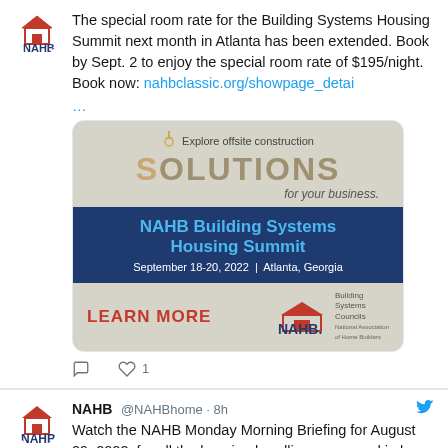The special room rate for the Building Systems Housing Summit next month in Atlanta has been extended. Book by Sept. 2 to enjoy the special room rate of $195/night. Book now: nahbclassic.org/showpage_detai …
[Figure (screenshot): NAHB Building Systems Housing Summit advertisement image. Shows 'Explore offsite construction SOLUTIONS for your business.' with dark blue band showing 'NAHB Building Systems Housing Summit September 18-20, 2022 | Atlanta, Georgia' and 'LEARN MORE' with NAHB logo and Building Systems Councils text.]
NAHB @NAHBhome · 8h  Watch the NAHB Monday Morning Briefing for August 29, 2022, for all the housing headlines you need in less than 60 seconds. Read the latest NAHB news at nahb.org/blog